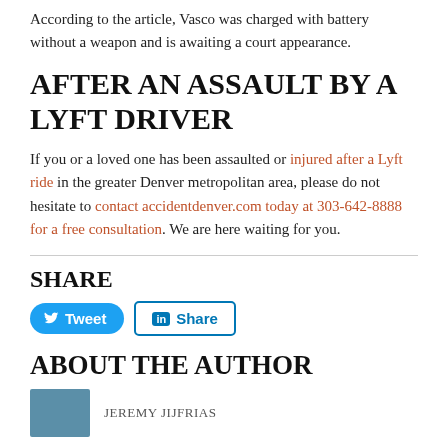According to the article, Vasco was charged with battery without a weapon and is awaiting a court appearance.
AFTER AN ASSAULT BY A LYFT DRIVER
If you or a loved one has been assaulted or injured after a Lyft ride in the greater Denver metropolitan area, please do not hesitate to contact accidentdenver.com today at 303-642-8888 for a free consultation. We are here waiting for you.
SHARE
[Figure (other): Tweet and LinkedIn Share buttons]
ABOUT THE AUTHOR
[Figure (photo): Author photo thumbnail]